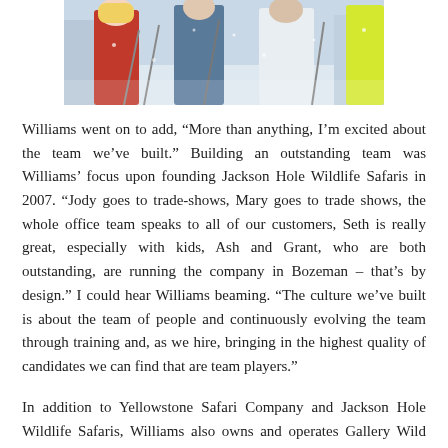[Figure (photo): Partial photo of a group of people outdoors in snowy winter conditions, wearing colorful winter gear and holding ski poles. The image is cropped showing the lower portion of the scene.]
Williams went on to add, “More than anything, I’m excited about the team we’ve built.” Building an outstanding team was Williams’ focus upon founding Jackson Hole Wildlife Safaris in 2007. “Jody goes to trade-shows, Mary goes to trade shows, the whole office team speaks to all of our customers, Seth is really great, especially with kids, Ash and Grant, who are both outstanding, are running the company in Bozeman – that’s by design.” I could hear Williams beaming. “The culture we’ve built is about the team of people and continuously evolving the team through training and, as we hire, bringing in the highest quality of candidates we can find that are team players.”
In addition to Yellowstone Safari Company and Jackson Hole Wildlife Safaris, Williams also owns and operates Gallery Wild with his wife, Carrie Wild.